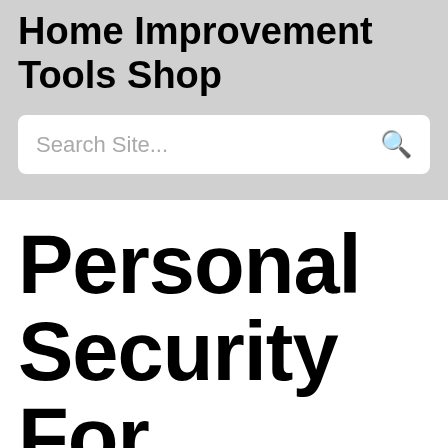Home Improvement Tools Shop
Search Site...
Personal Security For Se...